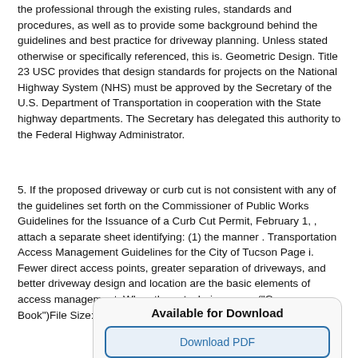the professional through the existing rules, standards and procedures, as well as to provide some background behind the guidelines and best practice for driveway planning. Unless stated otherwise or specifically referenced, this is. Geometric Design. Title 23 USC provides that design standards for projects on the National Highway System (NHS) must be approved by the Secretary of the U.S. Department of Transportation in cooperation with the State highway departments. The Secretary has delegated this authority to the Federal Highway Administrator.
5. If the proposed driveway or curb cut is not consistent with any of the guidelines set forth on the Commissioner of Public Works Guidelines for the Issuance of a Curb Cut Permit, February 1, , attach a separate sheet identifying: (1) the manner . Transportation Access Management Guidelines for the City of Tucson Page i. Fewer direct access points, greater separation of driveways, and better driveway design and location are the basic elements of access management. When these techniques are ("Green Book")File Size: KB.
Available for Download
Download PDF
Download EPUB
Download FB2